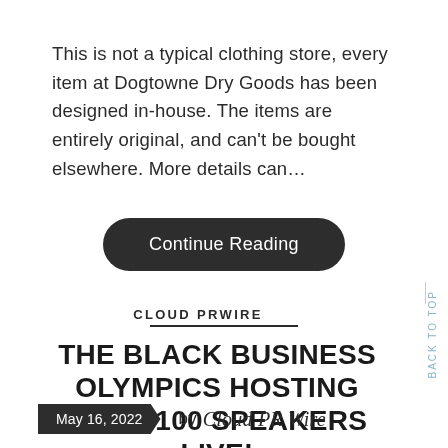This is not a typical clothing store, every item at Dogtowne Dry Goods has been designed in-house. The items are entirely original, and can't be bought elsewhere. More details can…
Continue Reading
CLOUD PRWIRE
THE BLACK BUSINESS OLYMPICS HOSTING OVER 100 SPEAKERS LIVE!
May 16, 2022  by Cloud PR Wire